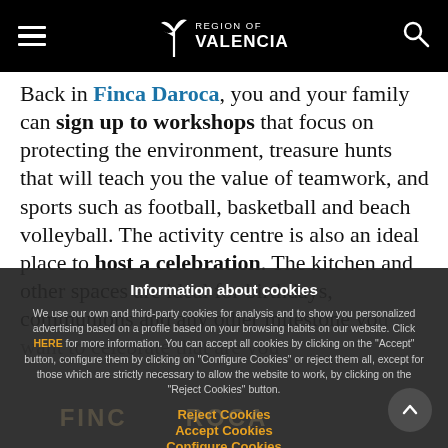Region of Valencia
Back in Finca Daroca, you and your family can sign up to workshops that focus on protecting the environment, treasure hunts that will teach you the value of teamwork, and sports such as football, basketball and beach volleyball. The activity centre is also an ideal place to host a celebration. The kitchen and other spaces are ideal for birthdays, communions and any other milestone you want to celebrate that are you...
Information about cookies
We use our own and third-party cookies for analysis and to show you personalized advertising based on a profile based on your browsing habits on our website. Click HERE for more information. You can accept all cookies by clicking on the "Accept" button, configure them by clicking on "Configure Cookies" or reject them all, except for those which are strictly necessary to allow the website to work, by clicking on the "Reject Cookies" button.
Reject Cookies
Accept Cookies
Configure Cookies
More info